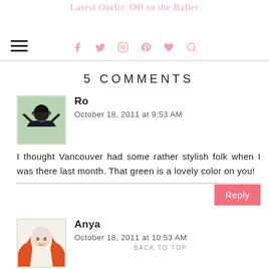Latest Outfit: Off to the Ballet — with social icons (facebook, twitter, instagram, pinterest, heart, search)
5 COMMENTS
Ro
October 18, 2011 at 9:53 AM
I thought Vancouver had some rather stylish folk when I was there last month. That green is a lovely color on you!
Anya
October 18, 2011 at 10:53 AM
I love that you asked "What's in your bag?"